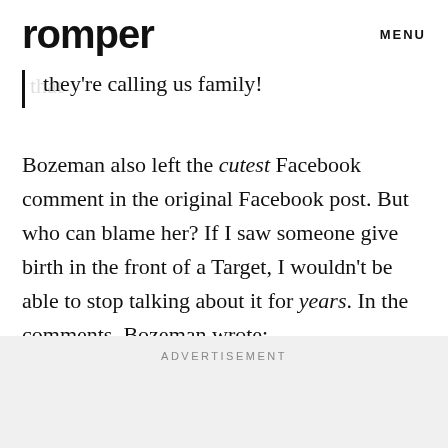romper   MENU
drama and their home and plan to have a lifetime of friendship with them. We love that they're calling us family!
Bozeman also left the cutest Facebook comment in the original Facebook post. But who can blame her? If I saw someone give birth in the front of a Target, I wouldn't be able to stop talking about it for years. In the comments, Bozeman wrote:
ADVERTISEMENT